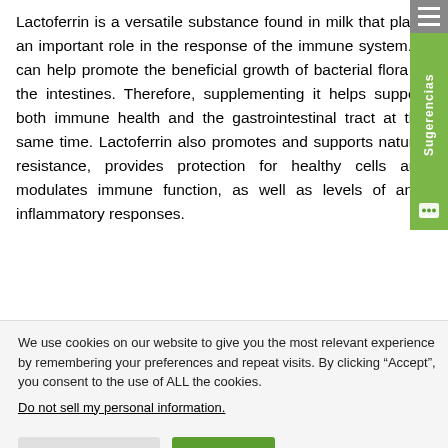Lactoferrin is a versatile substance found in milk that plays an important role in the response of the immune system. It can help promote the beneficial growth of bacterial flora in the intestines. Therefore, supplementing it helps support both immune health and the gastrointestinal tract at the same time. Lactoferrin also promotes and supports natural resistance, provides protection for healthy cells and modulates immune function, as well as levels of anti-inflammatory responses.
We use cookies on our website to give you the most relevant experience by remembering your preferences and repeat visits. By clicking “Accept”, you consent to the use of ALL the cookies.
Do not sell my personal information.